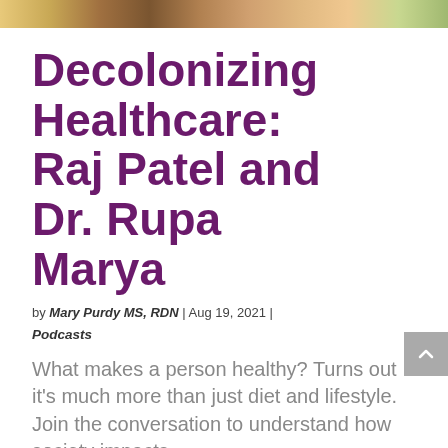[Figure (photo): Cropped top strip of a photo showing people]
Decolonizing Healthcare: Raj Patel and Dr. Rupa Marya
by Mary Purdy MS, RDN | Aug 19, 2021 | Podcasts
What makes a person healthy? Turns out it's much more than just diet and lifestyle. Join the conversation to understand how society impacts...